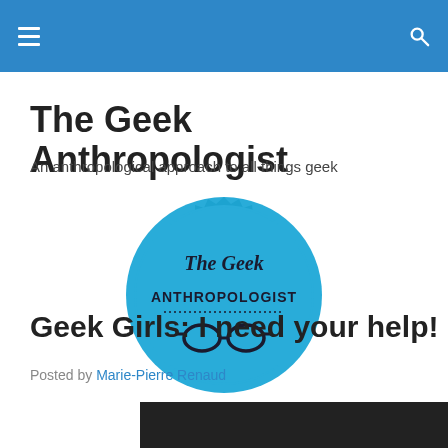The Geek Anthropologist — navigation bar
The Geek Anthropologist
An anthropological approach to all things geek
[Figure (logo): The Geek Anthropologist circular badge logo in blue with text 'The Geek ANTHROPOLOGIST' and glasses icon]
Geek Girls: I need your help!
Posted by Marie-Pierre Renaud
[Figure (photo): Dark/black image at the bottom of the page, partially visible]